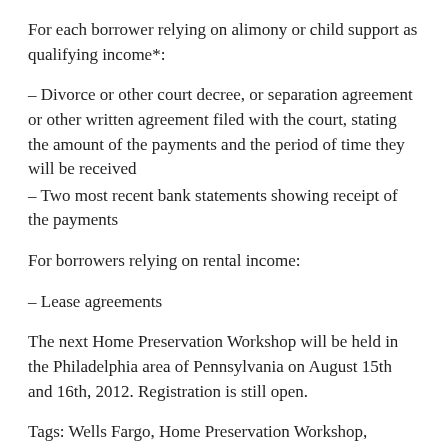For each borrower relying on alimony or child support as qualifying income*:
– Divorce or other court decree, or separation agreement or other written agreement filed with the court, stating the amount of the payments and the period of time they will be received
– Two most recent bank statements showing receipt of the payments
For borrowers relying on rental income:
– Lease agreements
The next Home Preservation Workshop will be held in the Philadelphia area of Pennsylvania on August 15th and 16th, 2012. Registration is still open.
Tags: Wells Fargo, Home Preservation Workshop, Newark/Secaucus, mortgage help, homeowners,